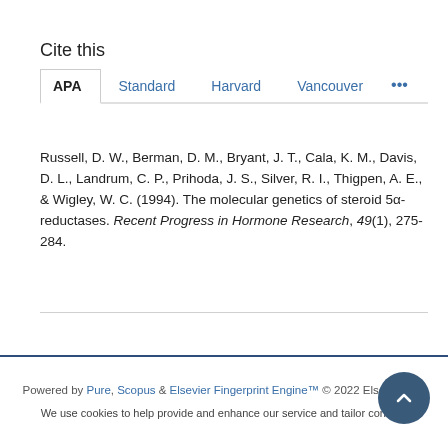Cite this
APA   Standard   Harvard   Vancouver   ...
Russell, D. W., Berman, D. M., Bryant, J. T., Cala, K. M., Davis, D. L., Landrum, C. P., Prihoda, J. S., Silver, R. I., Thigpen, A. E., & Wigley, W. C. (1994). The molecular genetics of steroid 5α-reductases. Recent Progress in Hormone Research, 49(1), 275-284.
Powered by Pure, Scopus & Elsevier Fingerprint Engine™ © 2022 Elsevier B.V
We use cookies to help provide and enhance our service and tailor content.